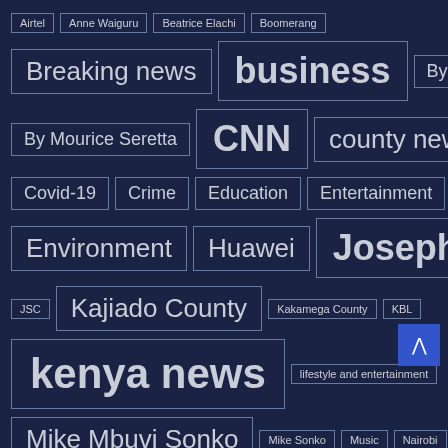Airtel
Anne Waiguru
Beatrice Elachi
Boomerang
Breaking news
business
By Eric Ludeya
By Mourice Seretta
CNN
county news
Covid-19
Crime
Education
Entertainment
Environment
Huawei
Joseph Mutua Ndonga
JSC
Kajiado County
Kakamega County
KBL
kenya news
lifestyle and entertainment
Mike Mbuvi Sonko
Mike Sonko
Music
Nairobi
Nairobi County
Nairobi County Assembly
Naivas
News